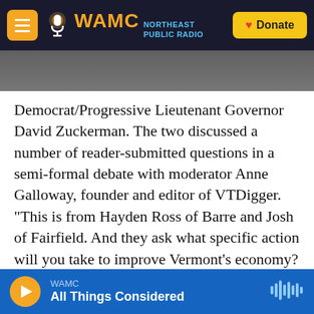WAMC Northeast Public Radio — Donate
Democrat/Progressive Lieutenant Governor David Zuckerman.  The two discussed a number of reader-submitted questions in a semi-formal debate with moderator Anne Galloway, founder and editor of VTDigger.  "This is from Hayden Ross of Barre and Josh of Fairfield. And they ask what specific action will you take to improve Vermont's economy? Specifically how will you bring new business to the state and add more jobs?"
Zuckerman replied that there is a need to invest in the rural economy and expansion of broadband.  "If we invest in broadband in our rural communities
WAMC — All Things Considered